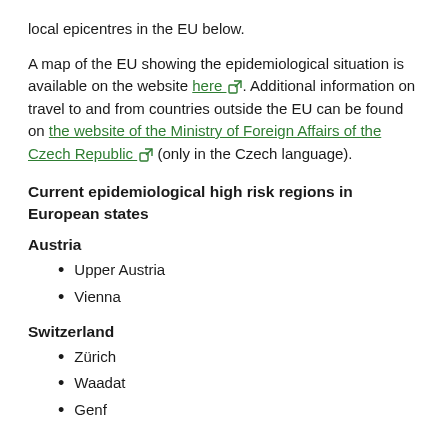local epicentres in the EU below.
A map of the EU showing the epidemiological situation is available on the website here. Additional information on travel to and from countries outside the EU can be found on the website of the Ministry of Foreign Affairs of the Czech Republic (only in the Czech language).
Current epidemiological high risk regions in European states
Austria
Upper Austria
Vienna
Switzerland
Zürich
Waadat
Genf